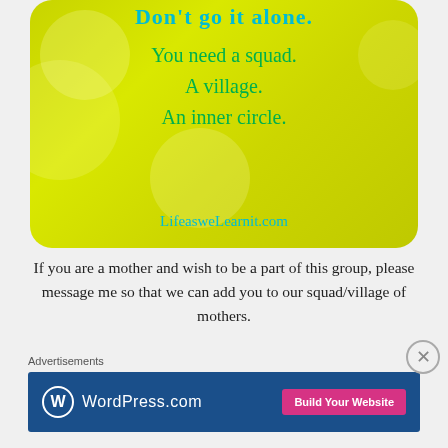[Figure (illustration): Yellow crumpled paper background image with text: 'Don't go it alone. You need a squad. A village. An inner circle. LifeasweLearnit.com' in teal and green handwritten fonts]
If you are a mother and wish to be a part of this group, please message me so that we can add you to our squad/village of mothers.
Advertisements
[Figure (screenshot): WordPress.com advertisement banner with blue background, WordPress logo, and 'Build Your Website' pink button]